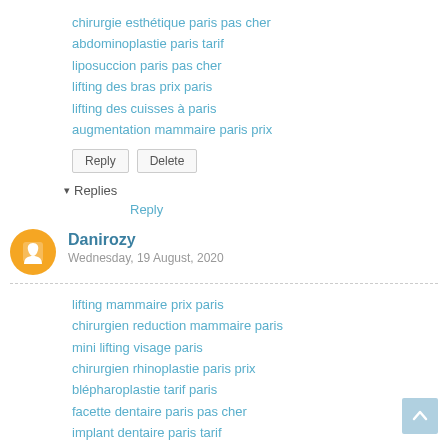chirurgie esthétique paris pas cher
abdominoplastie paris tarif
liposuccion paris pas cher
lifting des bras prix paris
lifting des cuisses à paris
augmentation mammaire paris prix
Reply  Delete
▾ Replies
Reply
Danirozy
Wednesday, 19 August, 2020
lifting mammaire prix paris
chirurgien reduction mammaire paris
mini lifting visage paris
chirurgien rhinoplastie paris prix
blépharoplastie tarif paris
facette dentaire paris pas cher
implant dentaire paris tarif
Reply  Delete